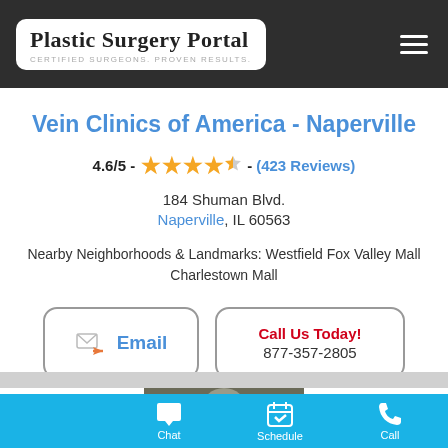Plastic Surgery Portal — CERTIFIED SURGEONS. PROVEN RESULTS.
Vein Clinics of America - Naperville
4.6/5 - ★★★★½ - (423 Reviews)
184 Shuman Blvd.
Naperville, IL 60563
Nearby Neighborhoods & Landmarks: Westfield Fox Valley Mall Charlestown Mall
Email | Call Us Today! 877-357-2805
[Figure (photo): Doctor photo in background, female consultant avatar in chat bar at bottom]